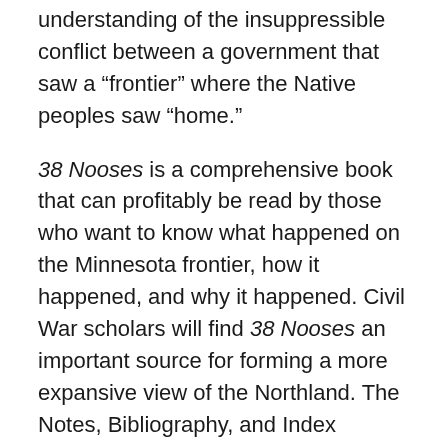understanding of the insuppressible conflict between a government that saw a “frontier” where the Native peoples saw “home.”
38 Nooses is a comprehensive book that can profitably be read by those who want to know what happened on the Minnesota frontier, how it happened, and why it happened. Civil War scholars will find 38 Nooses an important source for forming a more expansive view of the Northland. The Notes, Bibliography, and Index provide a rich resource for those who want to delve deeper. Photos are inserted in the text at the points where they provide helpful information, although the Table of Contents is useless. This book should be read by anyone who is open to knowing more about what they think they already know.
Berg’s book is filled with the kind of detail that makes good